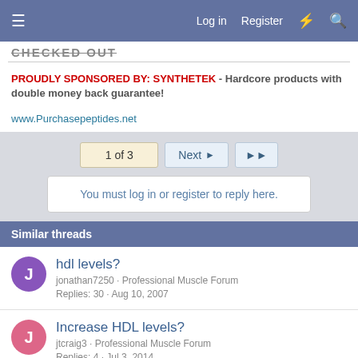Log in  Register
PROUDLY SPONSORED BY: SYNTHETEK - Hardcore products with double money back guarantee!
www.Purchasepeptides.net
1 of 3  Next  >>
You must log in or register to reply here.
Similar threads
hdl levels?
jonathan7250 · Professional Muscle Forum
Replies: 30 · Aug 10, 2007
Increase HDL levels?
jtcraig3 · Professional Muscle Forum
Replies: 4 · Jul 3, 2014